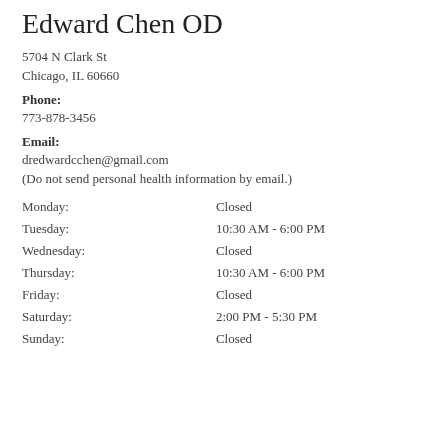Edward Chen OD
5704 N Clark St
Chicago, IL 60660
Phone:
773-878-3456
Email:
dredwardcchen@gmail.com
(Do not send personal health information by email.)
| Day | Hours |
| --- | --- |
| Monday: | Closed |
| Tuesday: | 10:30 AM - 6:00 PM |
| Wednesday: | Closed |
| Thursday: | 10:30 AM - 6:00 PM |
| Friday: | Closed |
| Saturday: | 2:00 PM - 5:30 PM |
| Sunday: | Closed |